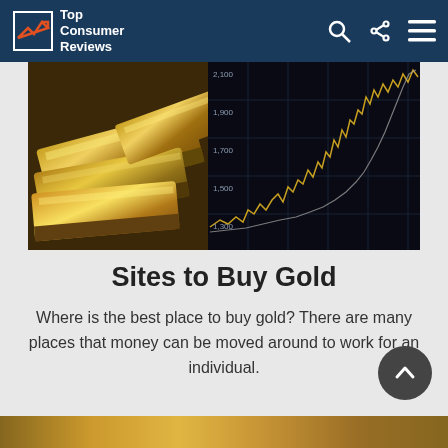Top Consumer Reviews
[Figure (photo): Gold bars stacked on left side with a gold line chart on dark background on the right side, composite hero image for gold buying article]
Sites to Buy Gold
Where is the best place to buy gold? There are many places that money can be moved around to work for an individual.